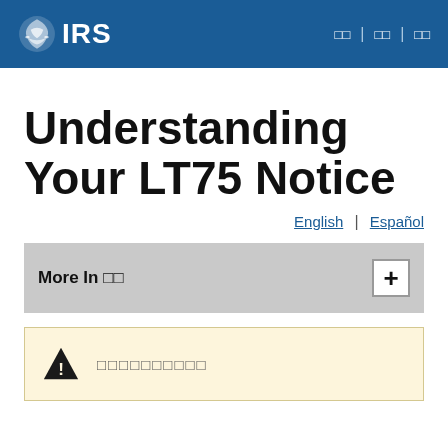IRS | □□ | □□ | □□
Understanding Your LT75 Notice
English | Español
More In □□
▲ □□□□□□□□□□